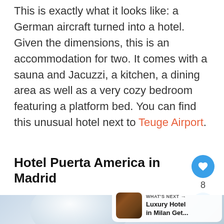This is exactly what it looks like: a German aircraft turned into a hotel. Given the dimensions, this is an accommodation for two. It comes with a sauna and Jacuzzi, a kitchen, a dining area as well as a very cozy bedroom featuring a platform bed. You can find this unusual hotel next to Teuge Airport.
Hotel Puerta America in Madrid
[Figure (photo): Interior photo of a modern hotel room with white curved surfaces and soft lighting, partially visible at the bottom of the page]
WHAT'S NEXT → Luxury Hotel in Milan Get...